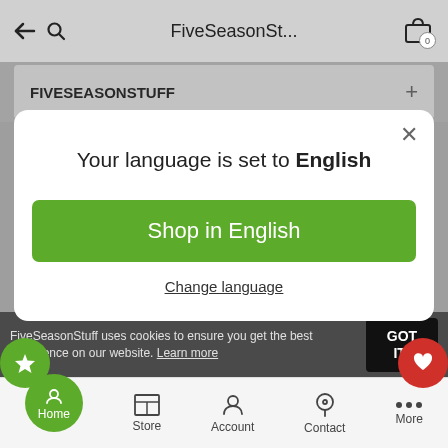FiveSeasonSt...
FIVESEASONSTUFF
[Figure (screenshot): Language selection modal dialog on a mobile shopping app. Shows text 'Your language is set to English', a green 'Shop in English' button, and a 'Change language' link. Background shows FiveSeasonStuff store page.]
FiveSeasonStuff uses cookies to ensure you get the best experience on our website. Learn more
GOT IT!
Home  Store  Account  Contact  More